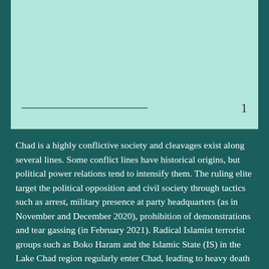[Figure (other): Light mint/teal colored rectangular box occupying the top portion of the page, with a horizontal rule and the number 1 at the bottom of the box (footnote or page number area).]
Chad is a highly conflictive society and cleavages exist along several lines. Some conflict lines have historical origins, but political power relations tend to intensify them. The ruling elite target the political opposition and civil society through tactics such as arrest, military presence at party headquarters (as in November and December 2020), prohibition of demonstrations and tear gassing (in February 2021). Radical Islamist terrorist groups such as Boko Haram and the Islamic State (IS) in the Lake Chad region regularly enter Chad, leading to heavy death tolls (e.g., in March 2020 on the island of Bohoma). So-called “political-military” groups, which operate primarily from southern Libya or